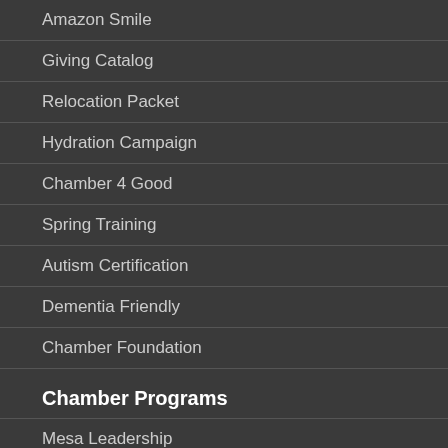Amazon Smile
Giving Catalog
Relocation Packet
Hydration Campaign
Chamber 4 Good
Spring Training
Autism Certification
Dementia Friendly
Chamber Foundation
Chamber Programs
Mesa Leadership